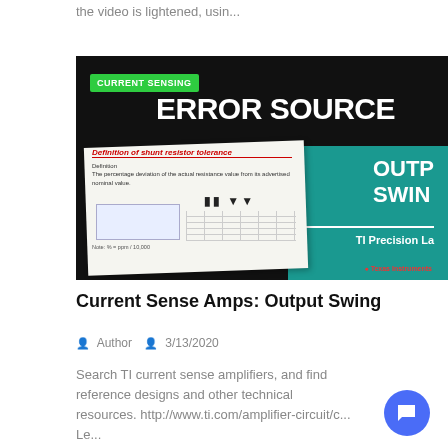the video is lightened, usin...
[Figure (screenshot): Video thumbnail showing 'ERROR SOURCE' on dark background with teal panel showing 'OUTPUT SWING' and 'TI Precision Labs', and a green 'CURRENT SENSING' badge. An inset paper shows 'Definition of shunt resistor tolerance'.]
Current Sense Amps: Output Swing
Author   3/13/2020
Search TI current sense amplifiers, and find reference designs and other technical resources. http://www.ti.com/amplifier-circuit/c... Le...